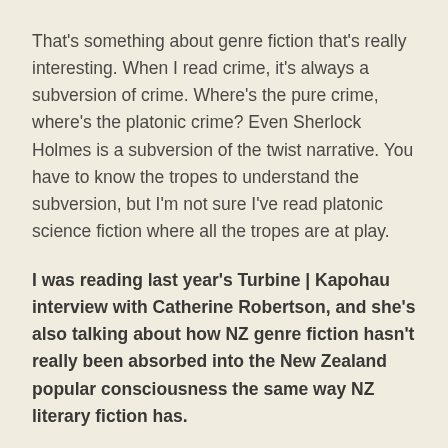That's something about genre fiction that's really interesting. When I read crime, it's always a subversion of crime. Where's the pure crime, where's the platonic crime? Even Sherlock Holmes is a subversion of the twist narrative. You have to know the tropes to understand the subversion, but I'm not sure I've read platonic science fiction where all the tropes are at play.
I was reading last year's Turbine | Kapohau interview with Catherine Robertson, and she's also talking about how NZ genre fiction hasn't really been absorbed into the New Zealand popular consciousness the same way NZ literary fiction has.